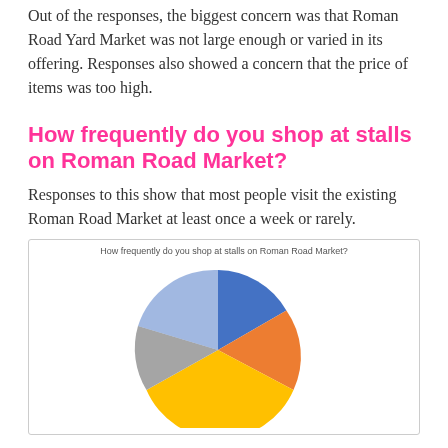Out of the responses, the biggest concern was that Roman Road Yard Market was not large enough or varied in its offering. Responses also showed a concern that the price of items was too high.
How frequently do you shop at stalls on Roman Road Market?
Responses to this show that most people visit the existing Roman Road Market at least once a week or rarely.
[Figure (pie-chart): How frequently do you shop at stalls on Roman Road Market?]